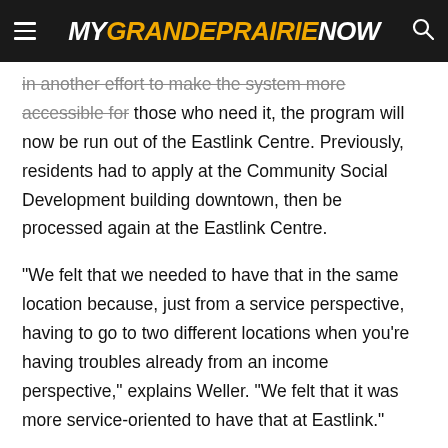MYGRANDEPRAIRIENOW
in another effort to make the system more accessible for those who need it, the program will now be run out of the Eastlink Centre. Previously, residents had to apply at the Community Social Development building downtown, then be processed again at the Eastlink Centre.
“We felt that we needed to have that in the same location because, just from a service perspective, having to go to two different locations when you’re having troubles already from an income perspective,” explains Weller. “We felt that it was more service-oriented to have that at Eastlink.”
To be eligible for the program, residents have to prove they live within city limits and that their annual household income meets Low Income Cut Off thresholds. They will still need to have an in-person meeting, during which they can choose